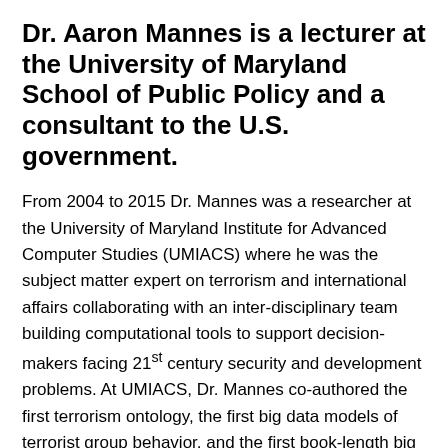Dr. Aaron Mannes is a lecturer at the University of Maryland School of Public Policy and a consultant to the U.S. government.
From 2004 to 2015 Dr. Mannes was a researcher at the University of Maryland Institute for Advanced Computer Studies (UMIACS) where he was the subject matter expert on terrorism and international affairs collaborating with an inter-disciplinary team building computational tools to support decision-makers facing 21st century security and development problems. At UMIACS, Dr. Mannes co-authored the first terrorism ontology, the first big data models of terrorist group behavior, and the first book-length big data study of a terrorist group's behavior.
Dr. Mannes is one of the world's leading experts on the